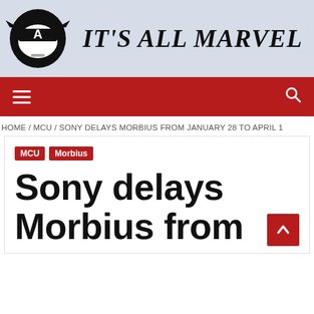[Figure (logo): It's All Marvel website header with Captain America mask logo on left and bold serif text 'IT'S ALL MARVEL' on right, on a light blue-grey background]
[Figure (other): Red navigation bar with hamburger menu icon on left and search (magnifying glass) icon on right]
HOME / MCU / SONY DELAYS MORBIUS FROM JANUARY 28 TO APRIL 1
MCU
Morbius
Sony delays Morbius from